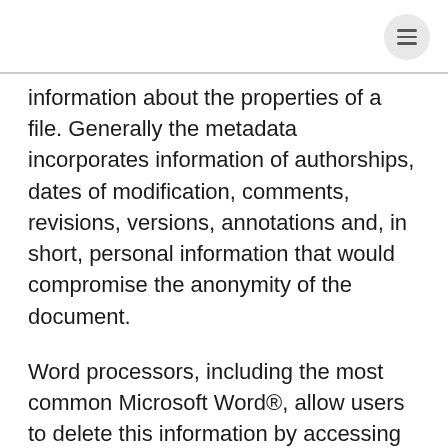information about the properties of a file. Generally the metadata incorporates information of authorships, dates of modification, comments, revisions, versions, annotations and, in short, personal information that would compromise the anonymity of the document.
Word processors, including the most common Microsoft Word®, allow users to delete this information by accessing the File or Properties menu.
The following are the steps to remove the metadata from a Microsoft Word® 2013 file or later versions. This procedure must be performed once the document is ready for sending, as each new change